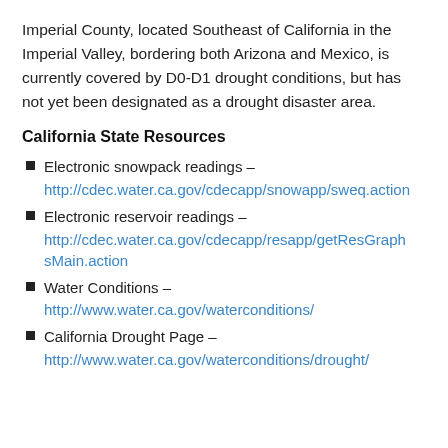Imperial County, located Southeast of California in the Imperial Valley, bordering both Arizona and Mexico, is currently covered by D0-D1 drought conditions, but has not yet been designated as a drought disaster area.
California State Resources
Electronic snowpack readings – http://cdec.water.ca.gov/cdecapp/snowapp/sweq.action
Electronic reservoir readings – http://cdec.water.ca.gov/cdecapp/resapp/getResGraphsMain.action
Water Conditions – http://www.water.ca.gov/waterconditions/
California Drought Page – http://www.water.ca.gov/waterconditions/drought/